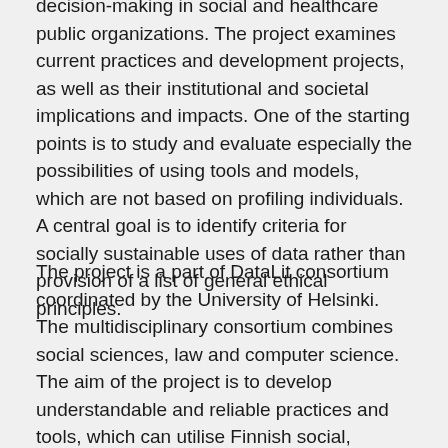decision-making in social and healthcare public organizations. The project examines current practices and development projects, as well as their institutional and societal implications and impacts. One of the starting points is to study and evaluate especially the possibilities of using tools and models, which are not based on profiling individuals. A central goal is to identify criteria for socially sustainable uses of data rather than provision of a list of general ethical principles.
The project is a part of DataLit consortium coordinated by the University of Helsinki. The multidisciplinary consortium combines social sciences, law and computer science. The aim of the project is to develop understandable and reliable practices and tools, which can utilise Finnish social, healthcare and well-being data and promote data literacy.